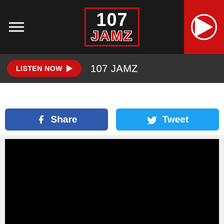107 JAMZ
LISTEN NOW  107 JAMZ
Share   Tweet
[Figure (other): Black video embed area]